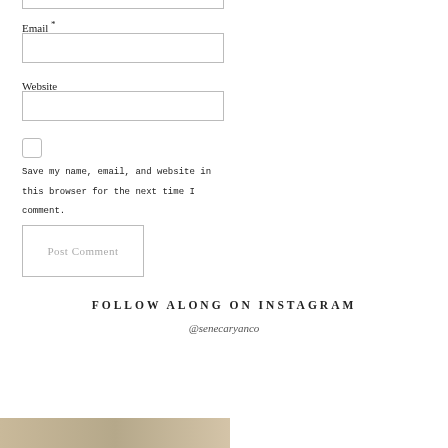Email *
(email input field)
Website
(website input field)
Save my name, email, and website in this browser for the next time I comment.
Post Comment
FOLLOW ALONG ON INSTAGRAM
@senecaryanco
[Figure (photo): Instagram photo strip at the bottom of the page]